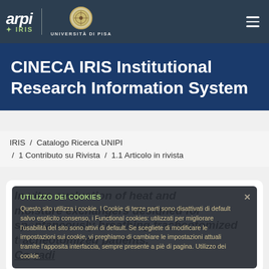[Figure (logo): ARPI IRIS logo and Università di Pisa logo in dark navigation bar]
CINECA IRIS Institutional Research Information System
IRIS / Catalogo Ricerca UNIPI / 1 Contributo su Rivista / 1.1 Articolo in rivista
In vitro evaluation of heat and moisture exchangers designed for spontaneously breathing tracheotomized patients.
Corradi
UTILIZZO DEI COOKIES
Questo sito utilizza i cookie. I Cookie di terze parti sono disattivati di default salvo esplicito consenso, i Functional cookies: utilizzati per migliorare l'usabilità del sito sono attivi di default. Se scegliete di modificare le impostazioni sui cookie, vi preghiamo di cambiare le impostazioni attuali tramite l'apposita interfaccia, sempre presente a piè di pagina. Utilizzo dei cookie.
Writing – Review & Editing